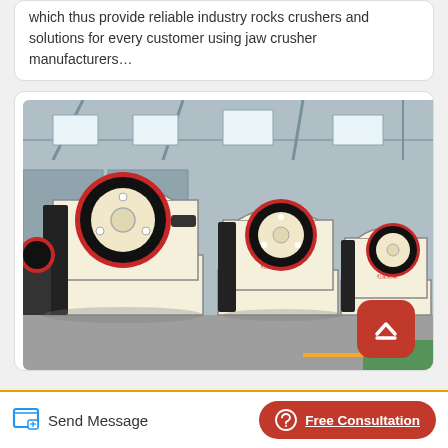which thus provide reliable industry rocks crushers and solutions for every customer using jaw crusher manufacturers…
[Figure (photo): Multiple jaw crusher machines in a factory/warehouse setting. The machines are cream/beige colored with large red and black flywheels on top. Several units are lined up in a row inside an industrial building with high ceilings and large windows.]
Send Message
Free Consultation